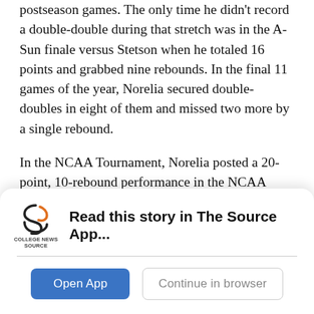postseason games. The only time he didn't record a double-double during that stretch was in the A-Sun finale versus Stetson when he totaled 16 points and grabbed nine rebounds. In the final 11 games of the year, Norelia secured double-doubles in eight of them and missed two more by a single rebound.
In the NCAA Tournament, Norelia posted a 20-point, 10-rebound performance in the NCAA Tournament First Four against fellow 16-seed Fairleigh Dickinson en route to a dominant 96-65 victory over the Knights — the largest margin of victory in First Four history. Against top-seeded North Carolina in the First Round
[Figure (logo): College News Source logo — stylized 'S' in orange/dark colors with text 'COLLEGE NEWS SOURCE' below]
Read this story in The Source App...
Open App
Continue in browser